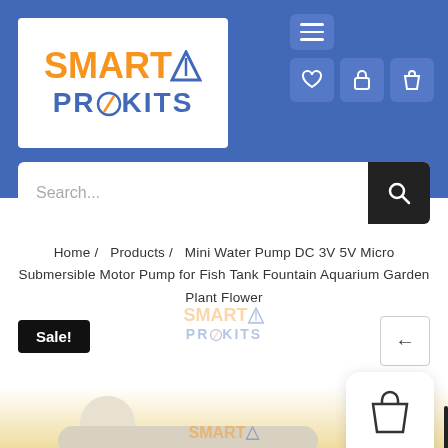[Figure (logo): SmartX ProKits logo with orange SMART text and blue X triangle, blue PROKITS text with lightning bolt O, in white box]
[Figure (screenshot): Navigation header icons: hamburger menu, heart, lock, shopping bag on blue background]
[Figure (screenshot): Search bar with magnifying glass button]
Home / Products / Mini Water Pump DC 3V 5V Micro Submersible Motor Pump for Fish Tank Fountain Aquarium Garden Plant Flower
[Figure (screenshot): Sale! badge (black button), watermark logo, back arrow button]
[Figure (photo): Mini water pump product photo on cream/yellow background with SmartX ProKits watermark]
[Figure (screenshot): Shopping cart popup icon overlay]